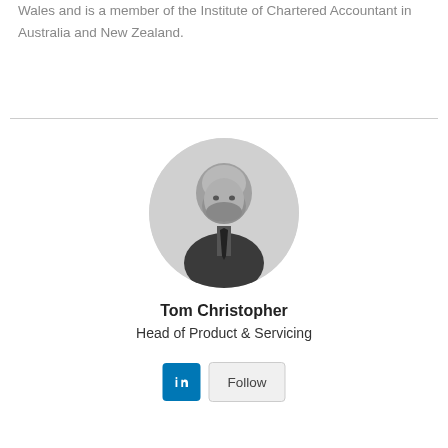Wales and is a member of the Institute of Chartered Accountant in Australia and New Zealand.
[Figure (photo): Black and white circular headshot photo of Tom Christopher, a bald man with a beard wearing a dark suit and tie]
Tom Christopher
Head of Product & Servicing
[Figure (other): LinkedIn icon button (blue) and Follow button (grey)]